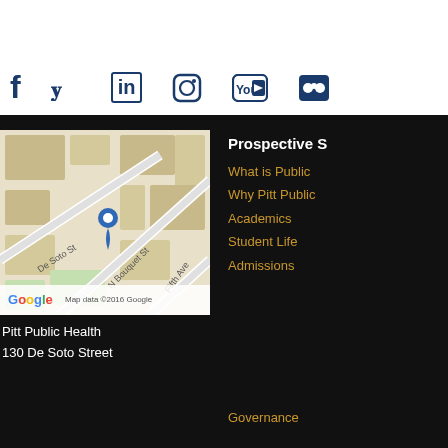Psychosocial Genetic Counseling. J We
[Figure (other): Social media icons row: Facebook, Twitter, LinkedIn, Instagram, YouTube, Flickr]
[Figure (map): Google Maps showing intersection of N Bouquet St, De Soto St, and Fifth Ave with a location pin. Map data ©2016 Google.]
Pitt Public Health
130 De Soto Street
Prospective S
What is Public
Why Pitt Public
Academics
Student Life
Admissions
Governance